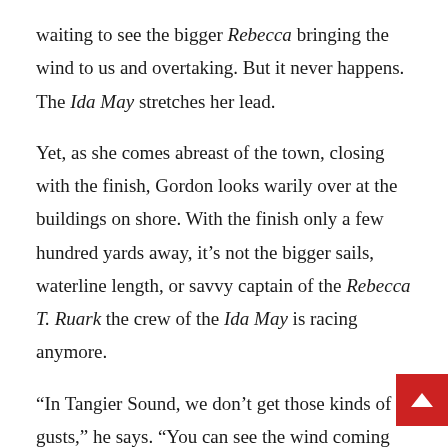waiting to see the bigger Rebecca bringing the wind to us and overtaking. But it never happens. The Ida May stretches her lead.
Yet, as she comes abreast of the town, closing with the finish, Gordon looks warily over at the buildings on shore. With the finish only a few hundred yards away, it’s not the bigger sails, waterline length, or savvy captain of the Rebecca T. Ruark the crew of the Ida May is racing anymore.
“In Tangier Sound, we don’t get those kinds of gusts,” he says. “You can see the wind coming across the wa… Here, the land is right here. We couldn’t see it coming.